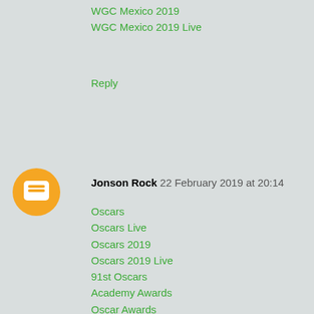WGC Mexico 2019
WGC Mexico 2019 Live
Reply
Jonson Rock  22 February 2019 at 20:14
Oscars
Oscars Live
Oscars 2019
Oscars 2019 Live
91st Oscars
Academy Awards
Oscar Awards
Oscar Live
Oscars
Oscars Live
Oscars 2019
Oscars 2019 Live
91st Academy Awards
Oscar Awards